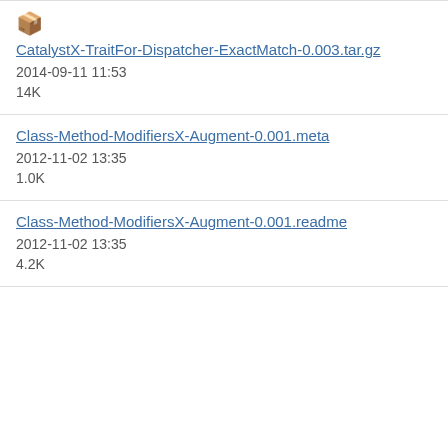📦 CatalystX-TraitFor-Dispatcher-ExactMatch-0.003.tar.gz
2014-09-11 11:53
14K
Class-Method-ModifiersX-Augment-0.001.meta
2012-11-02 13:35
1.0K
Class-Method-ModifiersX-Augment-0.001.readme
2012-11-02 13:35
4.2K